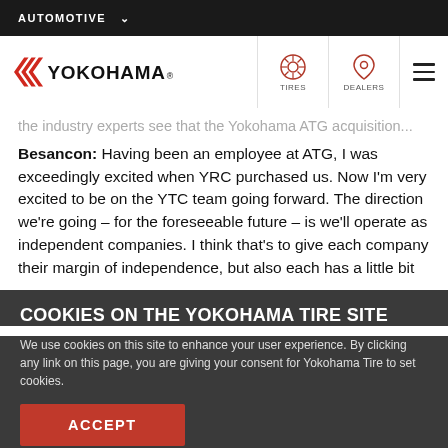AUTOMOTIVE
[Figure (logo): Yokohama logo with red chevron arrows and wordmark, TIRES icon, DEALERS icon, hamburger menu]
the industry experts see that the Yokohama ATG acquisition...
Besancon: Having been an employee at ATG, I was exceedingly excited when YRC purchased us. Now I'm very excited to be on the YTC team going forward. The direction we're going – for the foreseeable future – is we'll operate as independent companies. I think that's to give each company their margin of independence, but also each has a little bit
COOKIES ON THE YOKOHAMA TIRE SITE
We use cookies on this site to enhance your user experience. By clicking any link on this page, you are giving your consent for Yokohama Tire to set cookies.
Click here for more info
ACCEPT